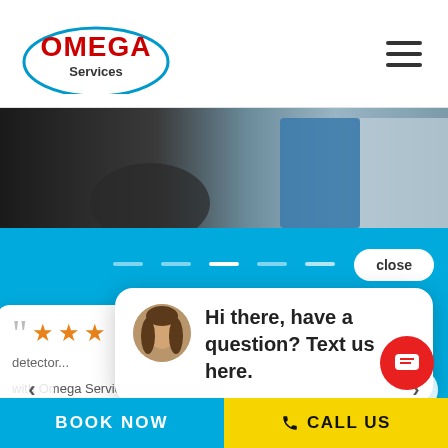[Figure (logo): Omega Services logo with red OMEGA text and blue ellipse orbit, Services text below]
[Figure (photo): Hero banner photo showing person working with blue panel/board, partial view]
close
[Figure (screenshot): Chat popup with avatar photo of woman, text: Hi there, have a question? Text us here.]
Hi there, have a question? Text us here.
detector... with Omega Services quite easily, Tod showed up on the arranged day and did a super professio...
BOOK NOW
CALL US